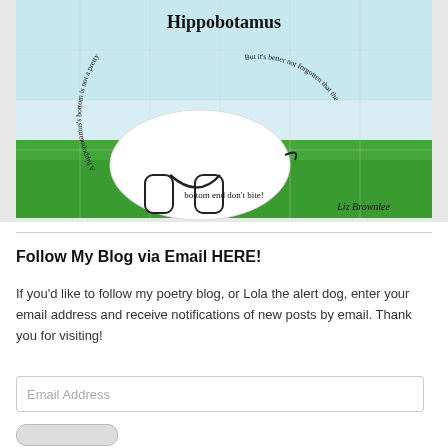[Figure (illustration): A jigsaw puzzle illustration titled 'Hippobotamus' showing a hippo from behind in a grassy scene with a poem curved around the body: 'A hippopotamus's bottom is not a pretty sight, But it's better not forgotten that the bottom end don't bite!' by Liz Brownlee]
Follow My Blog via Email HERE!
If you'd like to follow my poetry blog, or Lola the alert dog, enter your email address and receive notifications of new posts by email. Thank you for visiting!